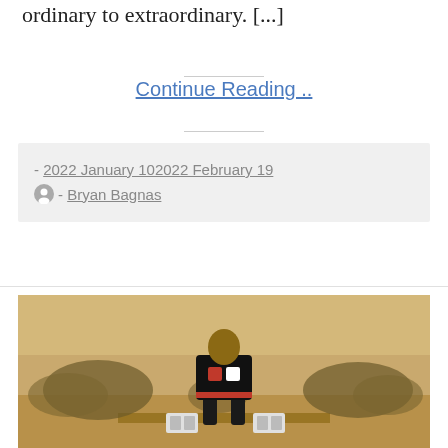ordinary to extraordinary. [...]
Continue Reading..
- 2022 January 102022 February 19
- Bryan Bagnas
[Figure (photo): A man in a black martial arts uniform with a red belt, bending forward over cinder blocks on a wooden platform in a dry desert landscape with scrub brush in the background.]